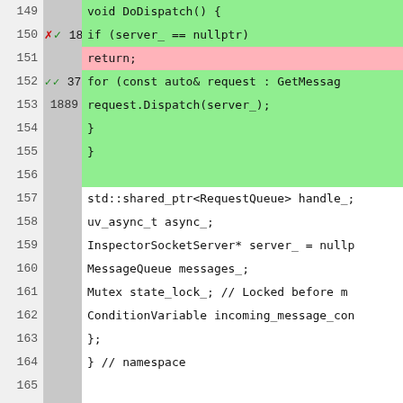[Figure (screenshot): Code coverage viewer showing C++ source code lines 149-175 with line numbers, hit counts, and color-coded coverage (green=covered, pink=not covered, white/gray=no data). Code shows DoDispatch(), RequestQueue class members, and void Reset() function.]